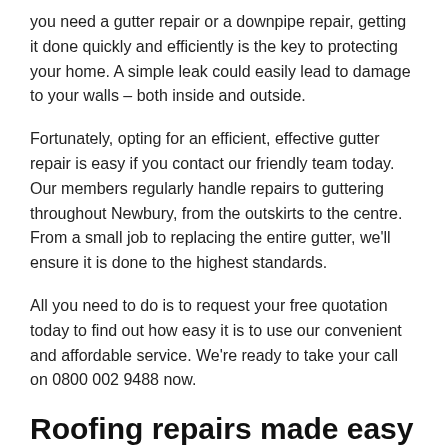you need a gutter repair or a downpipe repair, getting it done quickly and efficiently is the key to protecting your home. A simple leak could easily lead to damage to your walls – both inside and outside.
Fortunately, opting for an efficient, effective gutter repair is easy if you contact our friendly team today. Our members regularly handle repairs to guttering throughout Newbury, from the outskirts to the centre. From a small job to replacing the entire gutter, we'll ensure it is done to the highest standards.
All you need to do is to request your free quotation today to find out how easy it is to use our convenient and affordable service. We're ready to take your call on 0800 002 9488 now.
Roofing repairs made easy
The last thing any homeowner wants is a leaky roof. Even a small leak can cause significant damage to the roof structure and the interior of your home. The sooner you get it repaired the better –